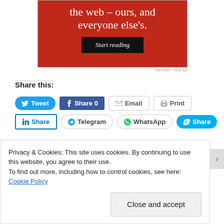[Figure (other): Red advertisement banner with white serif text 'the web – ours, and everyone else's.' and a black 'Start reading' button]
REPORT THIS AD
Share this:
Tweet  Share 0  Email  Print  Share  Telegram  WhatsApp  Share
Privacy & Cookies: This site uses cookies. By continuing to use this website, you agree to their use.
To find out more, including how to control cookies, see here: Cookie Policy
Close and accept